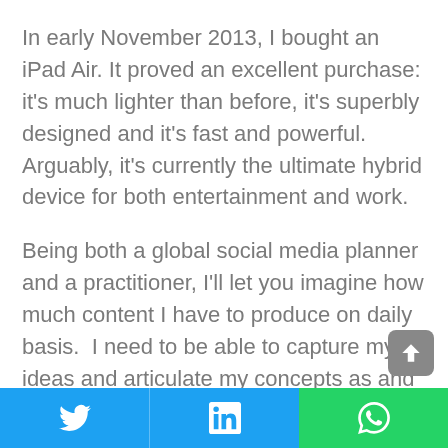In early November 2013, I bought an iPad Air. It proved an excellent purchase: it's much lighter than before, it's superbly designed and it's fast and powerful.  Arguably, it's currently the ultimate hybrid device for both entertainment and work.
Being both a global social media planner and a practitioner, I'll let you imagine how much content I have to produce on daily basis.  I need to be able to capture my ideas and articulate my concepts as and when needed throughout the day, from the office or on the road.
In my opinion, the iPad's on-board virtual keyboard is